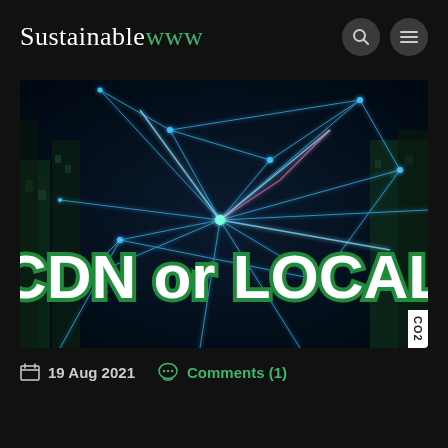Sustainablewww
[Figure (illustration): A digital network visualization showing glowing blue laser-like lines interconnecting over a cityscape at night, with the text 'CDN or LOCAL' overlaid in large bold white letters with a green outline. A white CO2 badge appears in the bottom right corner.]
19 Aug 2021   Comments (1)